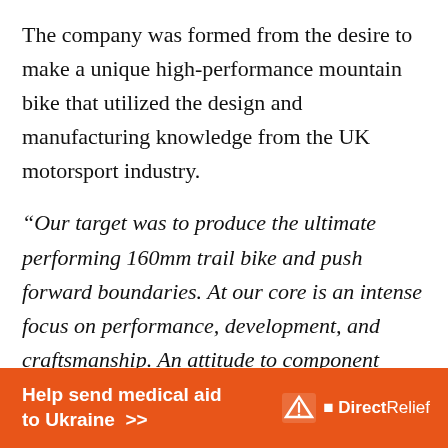The company was formed from the desire to make a unique high-performance mountain bike that utilized the design and manufacturing knowledge from the UK motorsport industry.
“Our target was to produce the ultimate performing 160mm trail bike and push forward boundaries. At our core is an intense focus on performance, development, and craftsmanship. An attitude to component
[Figure (other): Orange advertisement banner: 'Help send medical aid to Ukraine >>' with Direct Relief logo on the right]